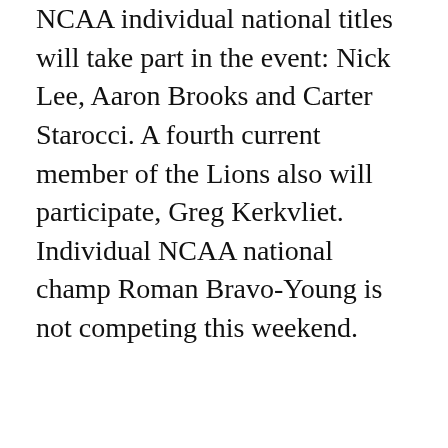NCAA individual national titles will take part in the event: Nick Lee, Aaron Brooks and Carter Starocci. A fourth current member of the Lions also will participate, Greg Kerkvliet. Individual NCAA national champ Roman Bravo-Young is not competing this weekend.